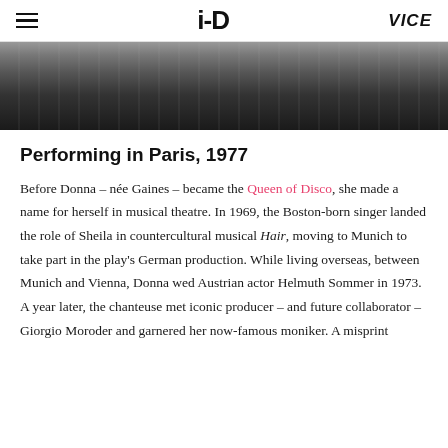i-D | VICE
[Figure (photo): Black and white photograph of a performer on stage, partially cropped, dark background with microphone stands visible]
Performing in Paris, 1977
Before Donna – née Gaines – became the Queen of Disco, she made a name for herself in musical theatre. In 1969, the Boston-born singer landed the role of Sheila in countercultural musical Hair, moving to Munich to take part in the play's German production. While living overseas, between Munich and Vienna, Donna wed Austrian actor Helmuth Sommer in 1973. A year later, the chanteuse met iconic producer – and future collaborator – Giorgio Moroder and garnered her now-famous moniker. A misprint